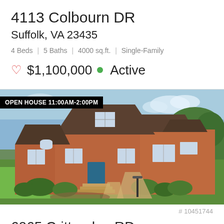4113 Colbourn DR
Suffolk, VA 23435
4 Beds | 5 Baths | 4000 sq.ft. | Single-Family
♡ $1,100,000 ● Active
[Figure (photo): Exterior photo of a large brick single-family home with open house banner reading OPEN HOUSE 11:00AM-2:00PM. The home has multiple gables, a blue front door, brick steps, landscaped bushes, and a curved driveway. Blue sky and green trees in background.]
# 10451744
6065 Crittenden RD
Suffolk, VA 23432